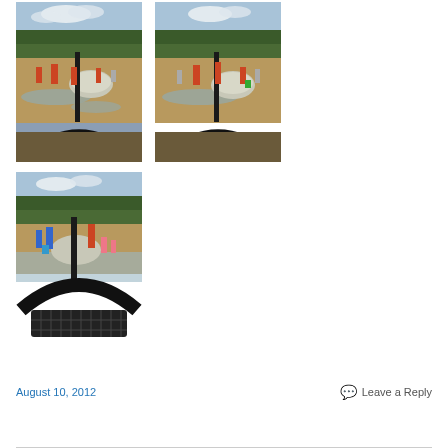[Figure (photo): Children playing at an outdoor water play area with rocks, sand, water features, and trees in the background. A black arch/ring structure is visible in the foreground. Two similar photos side by side in top row.]
[Figure (photo): Same outdoor water play area, wider angle view showing more of the ground-level water feature with black arch/ring structure prominently in lower foreground, children and adults visible in background.]
August 10, 2012
Leave a Reply